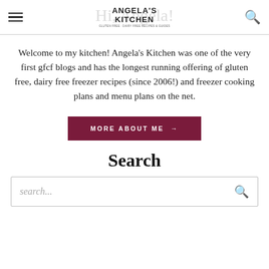Angela's Kitchen — navigation header with hamburger menu and search icon
Welcome to my kitchen! Angela's Kitchen was one of the very first gfcf blogs and has the longest running offering of gluten free, dairy free freezer recipes (since 2006!) and freezer cooking plans and menu plans on the net.
MORE ABOUT ME →
Search
search...